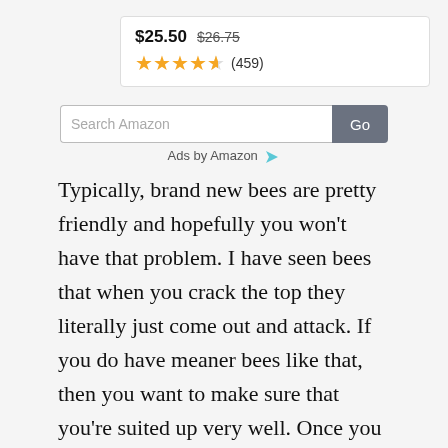[Figure (screenshot): Amazon product listing snippet showing price $25.50 (originally $26.75) with 4.5 star rating and 459 reviews, followed by an Amazon search bar with Go button and Ads by Amazon label]
Typically, brand new bees are pretty friendly and hopefully you won't have that problem. I have seen bees that when you crack the top they literally just come out and attack. If you do have meaner bees like that, then you want to make sure that you're suited up very well. Once you have 200 bees flying around your head, you can't really get away from them.
We'll have another lesson talking about how to get away from honeybees if you should be attacked. If you're not properly protected